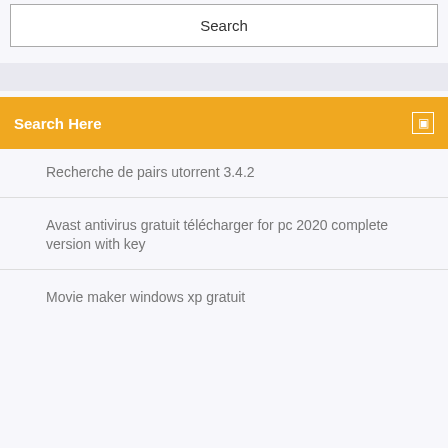Search
Search Here
Recherche de pairs utorrent 3.4.2
Avast antivirus gratuit télécharger for pc 2020 complete version with key
Movie maker windows xp gratuit